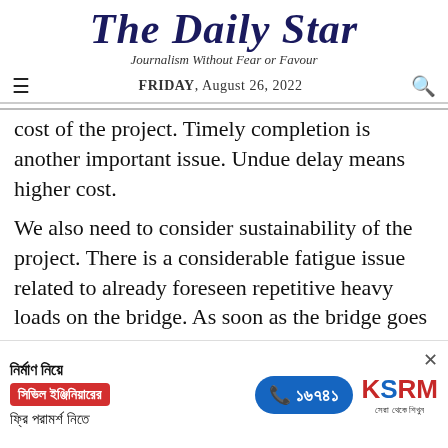The Daily Star
Journalism Without Fear or Favour
FRIDAY, August 26, 2022
cost of the project. Timely completion is another important issue. Undue delay means higher cost.
We also need to consider sustainability of the project. There is a considerable fatigue issue related to already foreseen repetitive heavy loads on the bridge. As soon as the bridge goes into operation we need to start close monitoring at the critical locations of superstructure. The plan needs to be chalked out at least during
[Figure (other): Advertisement banner in Bengali: KSRM civil engineering free consultation ad with phone number 16749]